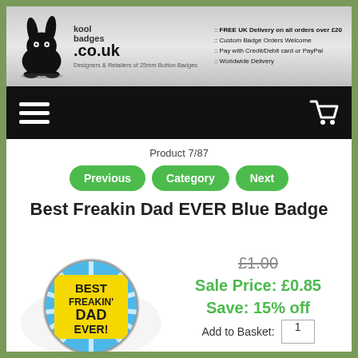[Figure (logo): Kool Badges .co.uk logo with rabbit mascot and tagline]
:: FREE UK Delivery on all orders over £20
:: Custom Badge Orders Welcome
:: Pay with Credit/Debit card or PayPal
:: Worldwide Delivery
[Figure (other): Black navigation bar with hamburger menu icon and shopping cart icon]
Product 7/87
Previous
Category
Next
Best Freakin Dad EVER Blue Badge
£1.00
Sale Price: £0.85
Save: 15% off
[Figure (photo): Round blue badge with rays pattern and yellow text reading BEST FREAKIN' DAD EVER!]
Add to Basket: 1